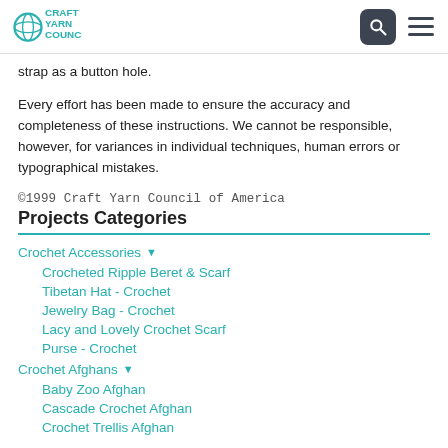Craft Yarn Council
strap as a button hole.
Every effort has been made to ensure the accuracy and completeness of these instructions. We cannot be responsible, however, for variances in individual techniques, human errors or typographical mistakes.
©1999 Craft Yarn Council of America
Projects Categories
Crochet Accessories
Crocheted Ripple Beret & Scarf
Tibetan Hat - Crochet
Jewelry Bag - Crochet
Lacy and Lovely Crochet Scarf
Purse - Crochet
Crochet Afghans
Baby Zoo Afghan
Cascade Crochet Afghan
Crochet Trellis Afghan